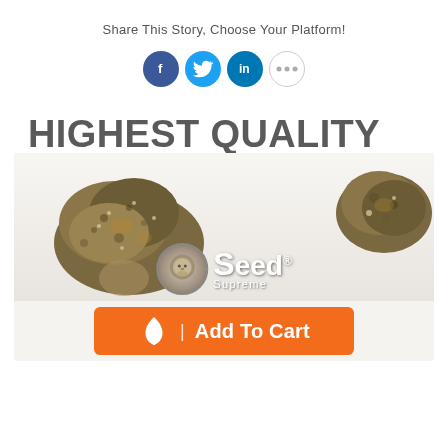Share This Story, Choose Your Platform!
[Figure (infographic): Social share icons: Facebook (blue circle), Twitter (blue circle), LinkedIn (blue circle), More options (grey circle with dots)]
[Figure (infographic): Seed Supreme advertisement banner showing 'HIGHEST QUALITY' text with cannabis bud photos and Seed Supreme logo, with an orange 'Add To Cart' button below]